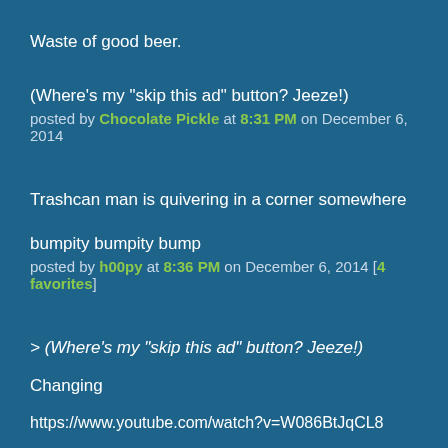Waste of good beer.
(Where's my "skip this ad" button? Jeeze!)
posted by Chocolate Pickle at 8:31 PM on December 6, 2014
Trashcan man is quivering in a corner somewhere
bumpity bumpity bump
posted by h00py at 8:36 PM on December 6, 2014 [4 favorites]
> (Where's my "skip this ad" button? Jeeze!)
Changing
https://www.youtube.com/watch?v=W086BtJqCL8